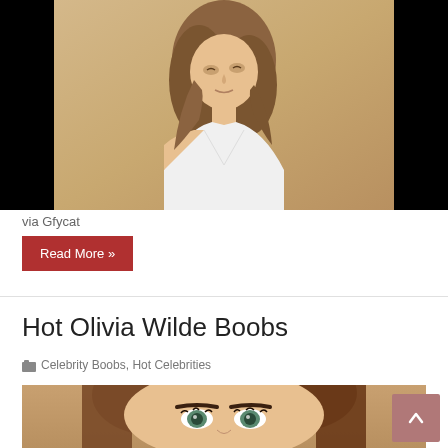[Figure (photo): Photo of a woman with short wavy hair wearing a white top, sitting outdoors with sandy background. Left portion of image has black bars.]
via Gfycat
Read More »
Hot Olivia Wilde Boobs
Celebrity Boobs, Hot Celebrities
[Figure (photo): Close-up photo of a woman with brown hair and blue/green eyes looking directly at camera.]